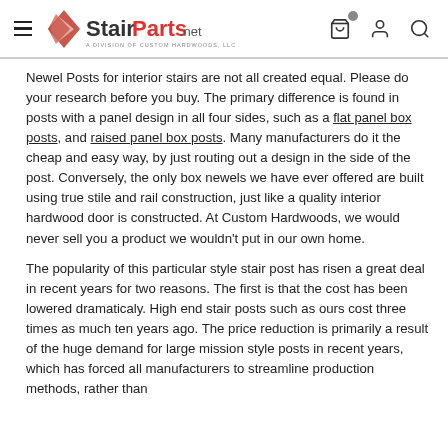StairParts.net — A Division of Custom Hardwoods, LLC
Newel Posts for interior stairs are not all created equal. Please do your research before you buy. The primary difference is found in posts with a panel design in all four sides, such as a flat panel box posts, and raised panel box posts. Many manufacturers do it the cheap and easy way, by just routing out a design in the side of the post. Conversely, the only box newels we have ever offered are built using true stile and rail construction, just like a quality interior hardwood door is constructed. At Custom Hardwoods, we would never sell you a product we wouldn't put in our own home.
The popularity of this particular style stair post has risen a great deal in recent years for two reasons. The first is that the cost has been lowered dramaticaly. High end stair posts such as ours cost three times as much ten years ago. The price reduction is primarily a result of the huge demand for large mission style posts in recent years, which has forced all manufacturers to streamline production methods, rather than